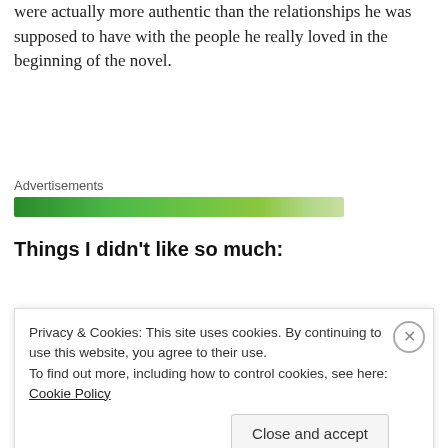were actually more authentic than the relationships he was supposed to have with the people he really loved in the beginning of the novel.
[Figure (other): Green advertisement banner bar]
Things I didn't like so much:
1.  I wasn't really digging the competition idea in a
Privacy & Cookies: This site uses cookies. By continuing to use this website, you agree to their use. To find out more, including how to control cookies, see here: Cookie Policy
Close and accept